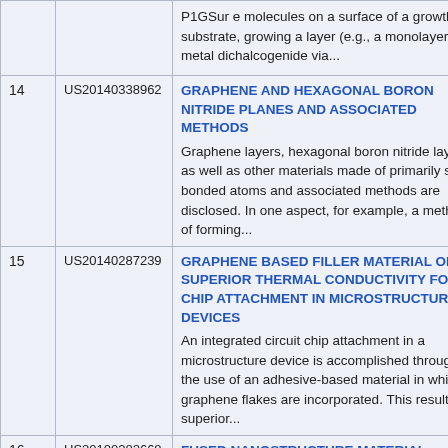| # | Patent | Title / Abstract |
| --- | --- | --- |
|  |  | P1GSur e molecules on a surface of a growth substrate, growing a layer (e.g., a monolayer) of a metal dichalcogenide via... |
| 14 | US20140338962 | GRAPHENE AND HEXAGONAL BORON NITRIDE PLANES AND ASSOCIATED METHODS
Graphene layers, hexagonal boron nitride layers, as well as other materials made of primarily sp2 bonded atoms and associated methods are disclosed. In one aspect, for example, a method of forming... |
| 15 | US20140287239 | GRAPHENE BASED FILLER MATERIAL OF SUPERIOR THERMAL CONDUCTIVITY FOR CHIP ATTACHMENT IN MICROSTRUCTURE DEVICES
An integrated circuit chip attachment in a microstructure device is accomplished through the use of an adhesive-based material in which graphene flakes are incorporated. This results in superior... |
| 16 | US20100282668 | FUSED NANOSTRUCTURE MATERIAL
Disclosed herein is a nanostructured material by which... |